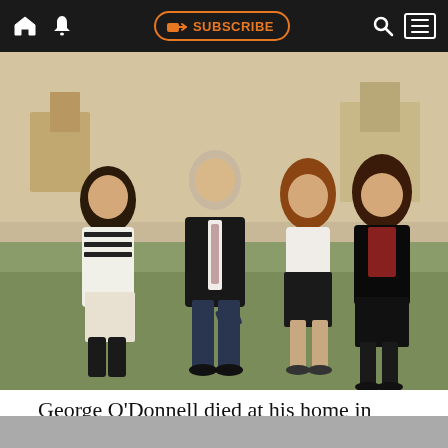SUBSCRIBE [navigation bar with home, bell, subscribe, search, and menu icons]
[Figure (photo): Vintage color photograph of four people posing outdoors — three women and one older man in a suit and tie, standing together with arms around each other. The women wear 1980s-style outfits. Background shows buildings and greenery.]
George O'Donnell died at his home in